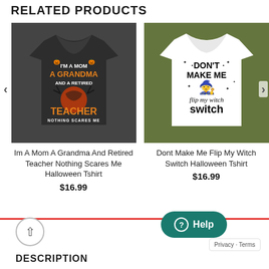RELATED PRODUCTS
[Figure (photo): Dark grey t-shirt with Halloween text: I'm A Mom A Grandma And A Retired Teacher Nothing Scares Me, with orange pumpkin and moon graphics]
Im A Mom A Grandma And Retired Teacher Nothing Scares Me Halloween Tshirt
$16.99
[Figure (photo): White t-shirt with text: Don't Make Me flip my witch switch, with witch silhouette graphic]
Dont Make Me Flip My Witch Switch Halloween Tshirt
$16.99
DESCRIPTION